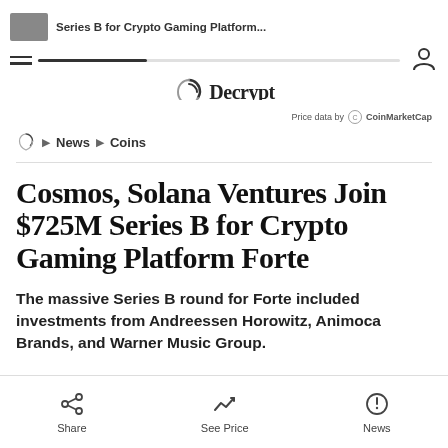Series B for Crypto Gaming Platform...
Price data by CoinMarketCap
News › Coins
Cosmos, Solana Ventures Join $725M Series B for Crypto Gaming Platform Forte
The massive Series B round for Forte included investments from Andreessen Horowitz, Animoca Brands, and Warner Music Group.
Share  See Price  News